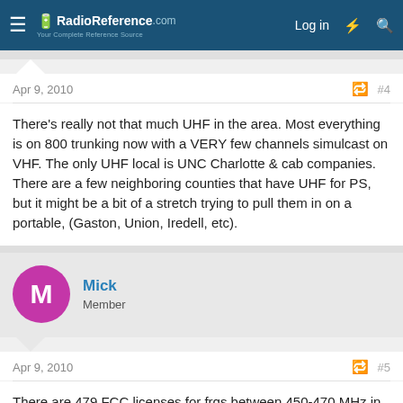RadioReference.com — Log in
Apr 9, 2010 #4
There's really not that much UHF in the area. Most everything is on 800 trunking now with a VERY few channels simulcast on VHF. The only UHF local is UNC Charlotte & cab companies. There are a few neighboring counties that have UHF for PS, but it might be a bit of a stretch trying to pull them in on a portable, (Gaston, Union, Iredell, etc).
Mick
Member
Apr 9, 2010 #5
There are 479 FCC licenses for frqs between 450-470 MHz in Mecklenburg County.

Go here: